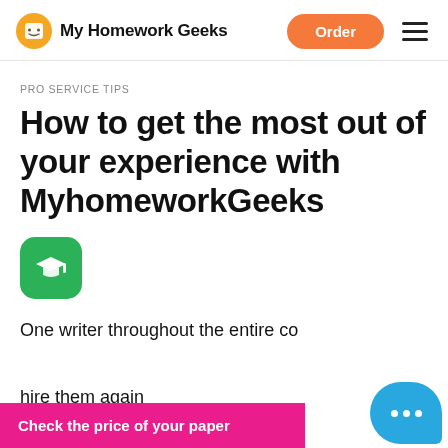My Homework Geeks
PRO SERVICE TIPS
How to get the most out of your experience with MyhomeworkGeeks
[Figure (logo): Green rounded square icon with white graduation cap symbol]
One writer throughout the entire co...
hire them again
Check the price of your paper